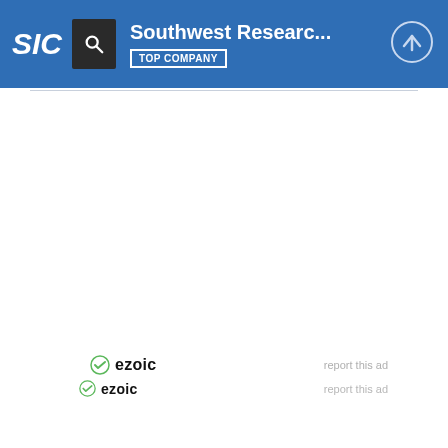SIC | Southwest Researc... | TOP COMPANY
[Figure (screenshot): Ezoic ad placeholder area (white space)]
ezoic  report this ad
ezoic  report this ad